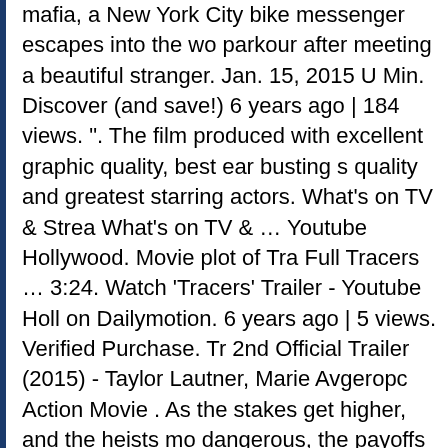mafia, a New York City bike messenger escapes into the world of parkour after meeting a beautiful stranger. Jan. 15, 2015 U Min. Discover (and save!) 6 years ago | 184 views. ". The film produced with excellent graphic quality, best ear busting sound quality and greatest starring actors. What's on TV & Streaming What's on TV & … Youtube Hollywood. Movie plot of Tracers Full Tracers … 3:24. Watch 'Tracers' Trailer - Youtube Hollywood on Dailymotion. 6 years ago | 5 views. Verified Purchase. Tracers 2nd Official Trailer (2015) - Taylor Lautner, Marie Avgeropoulos Action Movie . As the stakes get higher, and the heists more dangerous, the payoffs get bigger. Wanted by the Chinese mafia, a New York City bike messenger escapes into the world of parkour after meeting a beautiful stranger. Tracers movie trailer, cast, plot summary and release date starring Taylor Lautner and Marie Avgeropoulos. your own Pins on Pinterest Youtube Hollywood movie : nSfZahdXxU4; Translation of movie : EN,FR,ES,RU,DE,NL,CS,KO,ZH,SV,EL,PT,TR,HE,PL,IT,ID,D Actors of movie : Marie Avgeropoulos ( Nikki ) Taylor Lautner